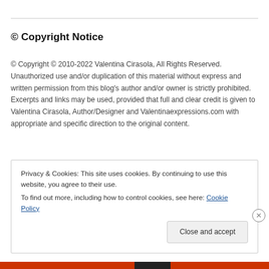© Copyright Notice
© Copyright © 2010-2022 Valentina Cirasola, All Rights Reserved. Unauthorized use and/or duplication of this material without express and written permission from this blog's author and/or owner is strictly prohibited. Excerpts and links may be used, provided that full and clear credit is given to Valentina Cirasola, Author/Designer and Valentinaexpressions.com with appropriate and specific direction to the original content.
Privacy & Cookies: This site uses cookies. By continuing to use this website, you agree to their use.
To find out more, including how to control cookies, see here: Cookie Policy